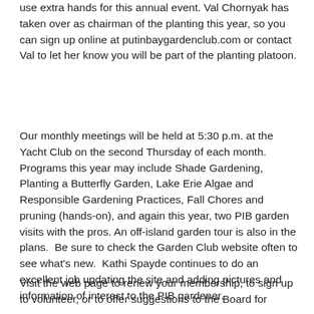use extra hands for this annual event. Val Chornyak has taken over as chairman of the planting this year, so you can sign up online at putinbaygardenclub.com or contact Val to let her know you will be part of the planting platoon.
Our monthly meetings will be held at 5:30 p.m. at the Yacht Club on the second Thursday of each month. Programs this year may include Shade Gardening, Planting a Butterfly Garden, Lake Erie Algae and Responsible Gardening Practices, Fall Chores and pruning (hands-on), and again this year, two PIB garden visits with the pros. An off-island garden tour is also in the plans.  Be sure to check the Garden Club website often to see what's new.  Kathi Spayde continues to do an excellent job updating the site and adding pictures and information of interest to the PIB gardener.
Visit the web page to renew your membership, to sign up to volunteer, or to offer suggestions to the Board for